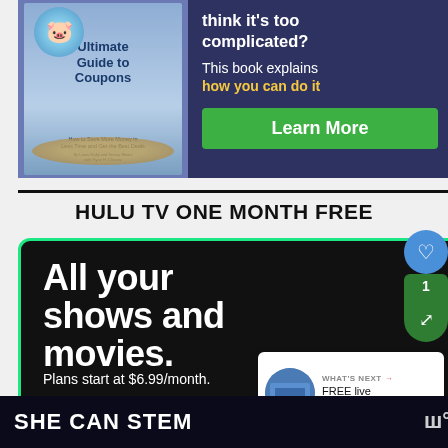[Figure (photo): Advertisement banner for 'Ultimate Guide to Coupons' book showing a piggy bank and coupons on the left, dark blue background on the right with text about couponing and a green Learn More button]
HULU TV ONE MONTH FREE
[Figure (photo): Hulu advertisement with dark background and green border showing text 'All your shows and movies. Plans start at $6.99/month.']
[Figure (other): Bottom banner for SHE CAN STEM with dark background and white bold text, with a W logo on the right]